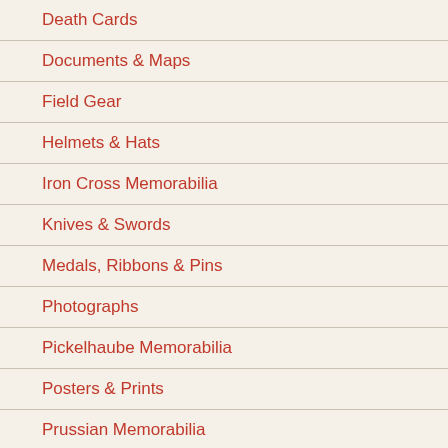Death Cards
Documents & Maps
Field Gear
Helmets & Hats
Iron Cross Memorabilia
Knives & Swords
Medals, Ribbons & Pins
Photographs
Pickelhaube Memorabilia
Posters & Prints
Prussian Memorabilia
Uniforms
Other German WWI Memorabilia
Great Britain
Badges
Books
Documents & Maps
Field Gear
Helmets & Hats
Knives, Swords & Bayonets
[Figure (photo): Product image of what appears to be a folded document or map]
[Figure (photo): Product image of a darker item, possibly a book or artifact]